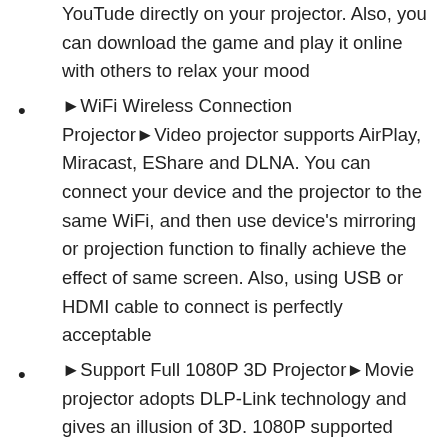YouTude directly on your projector. Also, you can download the game and play it online with others to relax your mood
►WiFi Wireless Connection Projector►Video projector supports AirPlay, Miracast, EShare and DLNA. You can connect your device and the projector to the same WiFi, and then use device’s mirroring or projection function to finally achieve the effect of same screen. Also, using USB or HDMI cable to connect is perfectly acceptable
►Support Full 1080P 3D Projector►Movie projector adopts DLP-Link technology and gives an illusion of 3D. 1080P supported resolution, 120" maximum projection scree and built-in speaker create the viewer an immersive environment when you watch